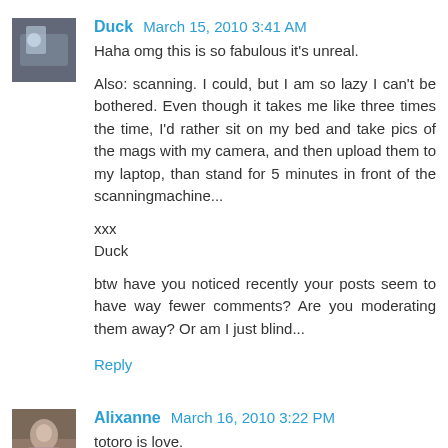[Figure (photo): Avatar image of user Duck]
Duck March 15, 2010 3:41 AM
Haha omg this is so fabulous it's unreal.

Also: scanning. I could, but I am so lazy I can't be bothered. Even though it takes me like three times the time, I'd rather sit on my bed and take pics of the mags with my camera, and then upload them to my laptop, than stand for 5 minutes in front of the scanningmachine...

xxx
Duck

btw have you noticed recently your posts seem to have way fewer comments? Are you moderating them away? Or am I just blind...
Reply
[Figure (photo): Avatar image of user Alixanne]
Alixanne March 16, 2010 3:22 PM
totoro is love.